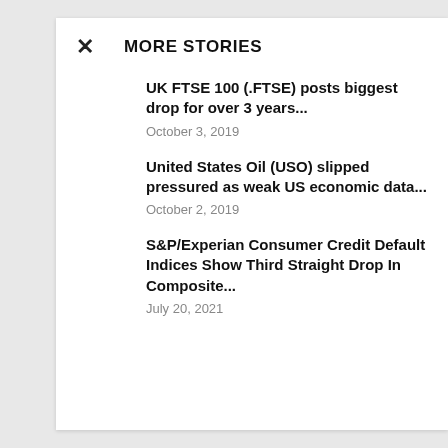MORE STORIES
UK FTSE 100 (.FTSE) posts biggest drop for over 3 years...
October 3, 2019
United States Oil (USO) slipped pressured as weak US economic data...
October 2, 2019
S&P/Experian Consumer Credit Default Indices Show Third Straight Drop In Composite...
July 20, 2021